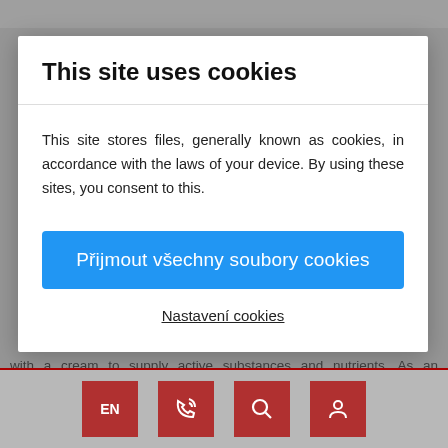This site uses cookies
This site stores files, generally known as cookies, in accordance with the laws of your device. By using these sites, you consent to this.
Přijmout všechny soubory cookies
Nastavení cookies
with a cream to supply active substances and nutrients. As an additional care, treat yourself with a face mask at least once a week.
EN  [phone icon]  [search icon]  [account icon]